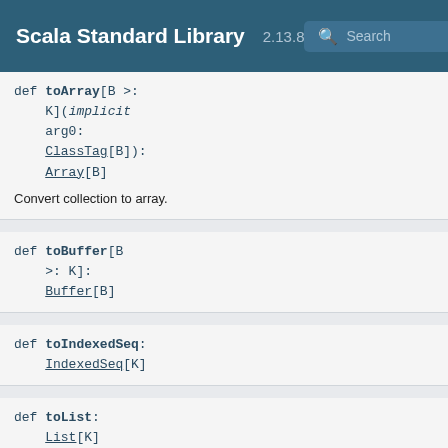Scala Standard Library 2.13.8
def toArray[B >: K](implicit arg0: ClassTag[B]): Array[B]
Convert collection to array.
def toBuffer[B >: K]: Buffer[B]
def toIndexedSeq: IndexedSeq[K]
def toList: List[K]
def toMap[K, V](implicit ev: <:<[K, (K, V)]): Map[K, V]